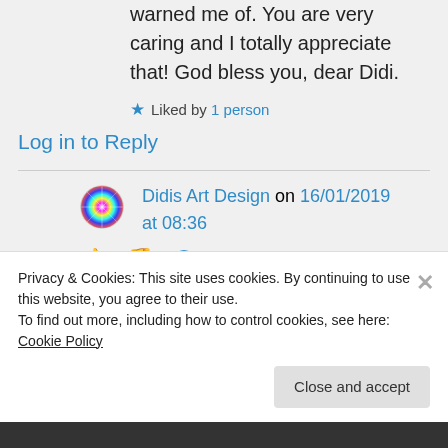warned me of. You are very caring and I totally appreciate that! God bless you, dear Didi.
★ Liked by 1 person
Log in to Reply
Didis Art Design on 16/01/2019 at 08:36
👍 0 👎 0 ℹ Rate This
Privacy & Cookies: This site uses cookies. By continuing to use this website, you agree to their use.
To find out more, including how to control cookies, see here: Cookie Policy
Close and accept